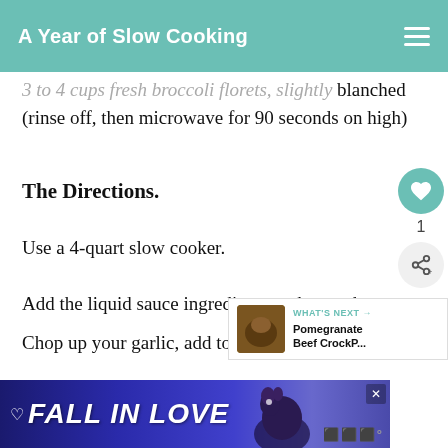A Year of Slow Cooking
3 to 4 cups fresh broccoli florets, slightly blanched (rinse off, then microwave for 90 seconds on high)
The Directions.
Use a 4-quart slow cooker.
Add the liquid sauce ingredients to the crockpot
Chop up your garlic, add to mixture
[Figure (screenshot): FALL IN LOVE advertisement banner at bottom of page with dog image]